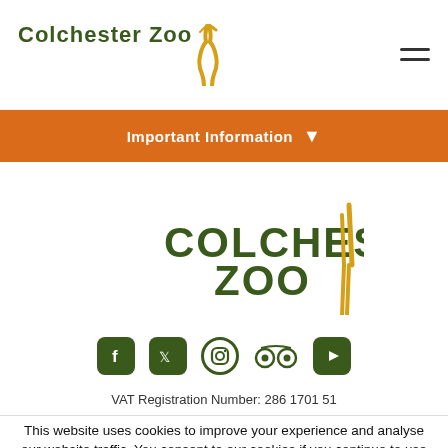[Figure (logo): Colchester Zoo logo with giraffe silhouette in gold, text in dark green]
Important Information ▾
[Figure (logo): Large Colchester Zoo logo with giraffe]
[Figure (infographic): Social media icons: Facebook, Twitter, Instagram, TripAdvisor, YouTube]
VAT Registration Number: 286 1701 51
This website uses cookies to improve your experience and analyse our website traffic. You consent to our cookies if you continue to use our website however you can opt-out if you wish. You can change your mind about your consent choices at any time by returning to this site.
Cookie settings  ACCEPT